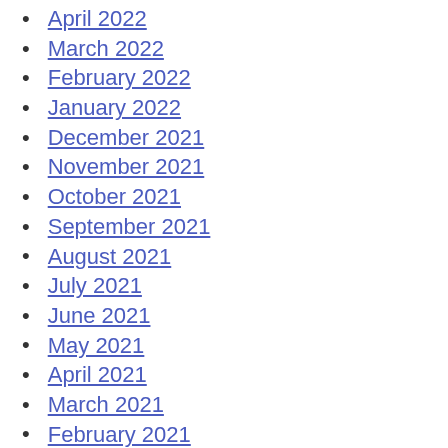April 2022
March 2022
February 2022
January 2022
December 2021
November 2021
October 2021
September 2021
August 2021
July 2021
June 2021
May 2021
April 2021
March 2021
February 2021
December 2020
November 2020
October 2020
September 2020